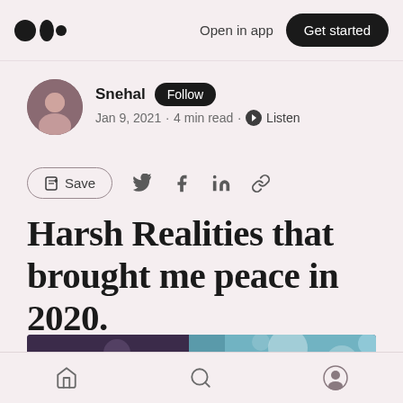Open in app  Get started
Snehal · Follow · Jan 9, 2021 · 4 min read · Listen
Save
Harsh Realities that brought me peace in 2020.
[Figure (photo): Blurred bokeh image with dark left side and teal/blue right side, reaction bar overlay showing 10 claps and a comment icon]
Home  Search  Profile